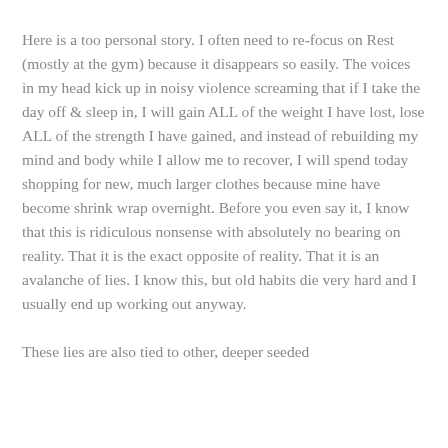Here is a too personal story. I often need to re-focus on Rest (mostly at the gym) because it disappears so easily. The voices in my head kick up in noisy violence screaming that if I take the day off & sleep in, I will gain ALL of the weight I have lost, lose ALL of the strength I have gained, and instead of rebuilding my mind and body while I allow me to recover, I will spend today shopping for new, much larger clothes because mine have become shrink wrap overnight. Before you even say it, I know that this is ridiculous nonsense with absolutely no bearing on reality. That it is the exact opposite of reality. That it is an avalanche of lies. I know this, but old habits die very hard and I usually end up working out anyway.

These lies are also tied to other, deeper seeded